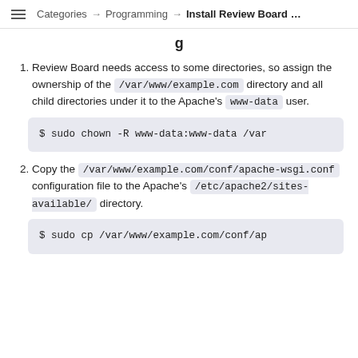Categories → Programming → Install Review Board …
Review Board needs access to some directories, so assign the ownership of the /var/www/example.com directory and all child directories under it to the Apache's www-data user.
$ sudo chown -R www-data:www-data /var
Copy the /var/www/example.com/conf/apache-wsgi.conf configuration file to the Apache's /etc/apache2/sites-available/ directory.
$ sudo cp /var/www/example.com/conf/ap